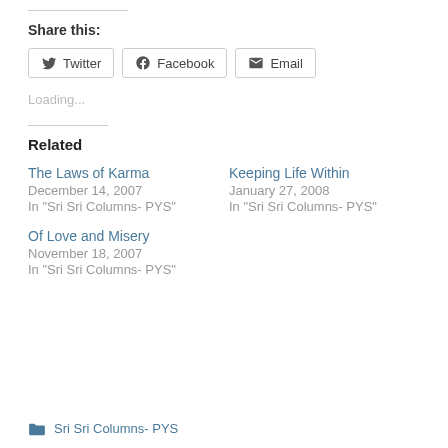Share this:
Twitter | Facebook | Email (share buttons)
Loading...
Related
The Laws of Karma
December 14, 2007
In "Sri Sri Columns- PYS"
Keeping Life Within
January 27, 2008
In "Sri Sri Columns- PYS"
Of Love and Misery
November 18, 2007
In "Sri Sri Columns- PYS"
Sri Sri Columns- PYS